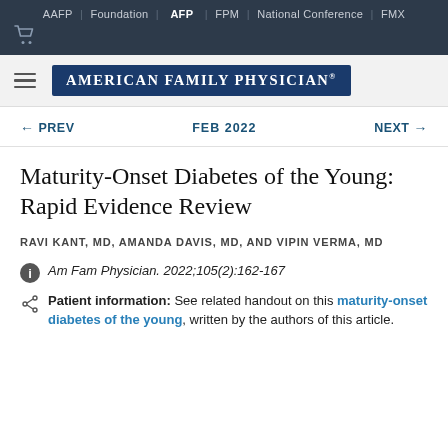AAFP | Foundation | AFP | FPM | National Conference | FMX
[Figure (logo): American Family Physician journal logo badge in dark blue with white text]
← PREV   FEB 2022   NEXT →
Maturity-Onset Diabetes of the Young: Rapid Evidence Review
RAVI KANT, MD, AMANDA DAVIS, MD, AND VIPIN VERMA, MD
Am Fam Physician. 2022;105(2):162-167
Patient information: See related handout on this maturity-onset diabetes of the young, written by the authors of this article.